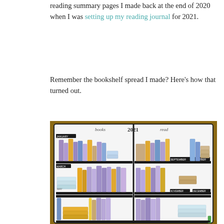reading summary pages I made back at the end of 2020 when I was setting up my reading journal for 2021.
Remember the bookshelf spread I made? Here's how that turned out.
[Figure (photo): A bullet journal open to a bookshelf spread for 2021, showing illustrated bookshelves divided by months (January through at least May), filled with colorful hand-drawn book spines in purple, yellow/orange, blue, and tan colors, laid out on a wooden table.]